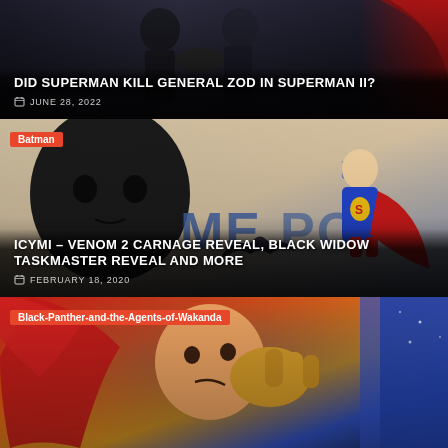[Figure (photo): Photo of people shaking hands, Superman in red cape visible on right side]
DID SUPERMAN KILL GENERAL ZOD IN SUPERMAN II?
JUNE 28, 2022
[Figure (illustration): Comic-style illustration of Batman face and Superman in costume, with Metropolis text in background]
Batman
ICYMI – VENOM 2 CARNAGE REVEAL, BLACK WIDOW TASKMASTER REVEAL AND MORE
FEBRUARY 18, 2020
[Figure (illustration): Comic-style illustration of action scene with superhero characters in red and gold costumes]
Black-Panther-and-the-Agents-of-Wakanda